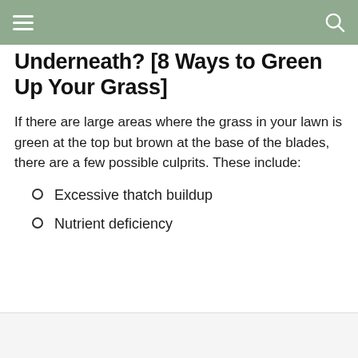Underneath? [8 Ways to Green Up Your Grass]
If there are large areas where the grass in your lawn is green at the top but brown at the base of the blades, there are a few possible culprits. These include:
Excessive thatch buildup
Nutrient deficiency